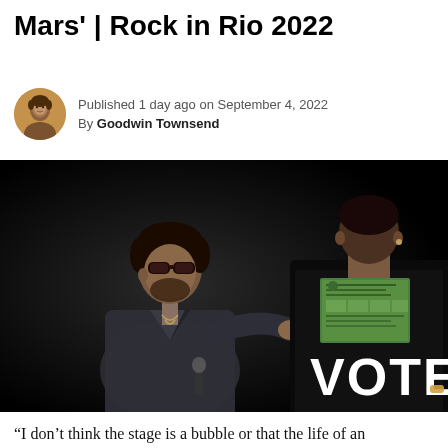Mars' | Rock in Rio 2022
Published 1 day ago on September 4, 2022
By Goodwin Townsend
[Figure (photo): Two men on a dark stage. One man wearing sunglasses and a grey jacket faces the camera. The other man has his back to the camera wearing a black t-shirt with 'VOTE' printed in large white letters and a green document/card printed on the upper back.]
“I don’t think the stage is a bubble or that the life of an